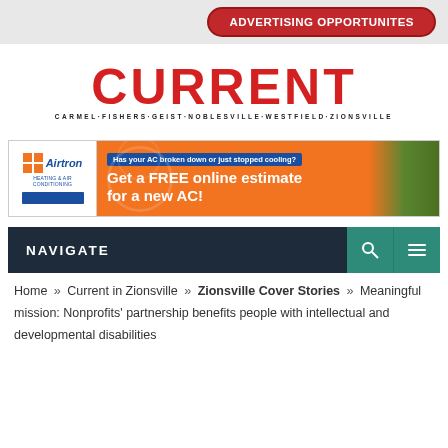[Figure (other): Red oval button with white bold text reading ADVERTISING OPPORTUNITES on a light gray banner bar]
[Figure (logo): CURRENT magazine logo in large red bold text with subtitle CARMEL·FISHERS·GEIST·NOBLESVILLE·WESTFIELD·ZIONSVILLE]
[Figure (other): Airtron HVAC advertisement banner with orange background. Left white panel shows Airtron logo with blue square icon and blue bar. Main orange section reads: Has your AC broken down or just stopped cooling? Get a FREE online estimate for a new AC! Right side shows technician photo with AC unit.]
NAVIGATE
Home » Current in Zionsville » Zionsville Cover Stories » Meaningful mission: Nonprofits' partnership benefits people with intellectual and developmental disabilities